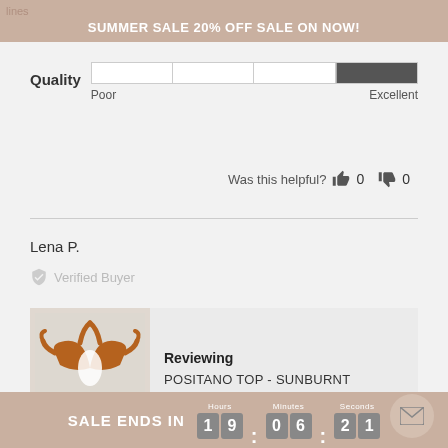SUMMER SALE 20% OFF SALE ON NOW!
Quality  Poor  Excellent
Was this helpful? 0 0
Lena P.
Verified Buyer
Reviewing
POSITANO TOP - SUNBURNT
SALE ENDS IN 19:06:21